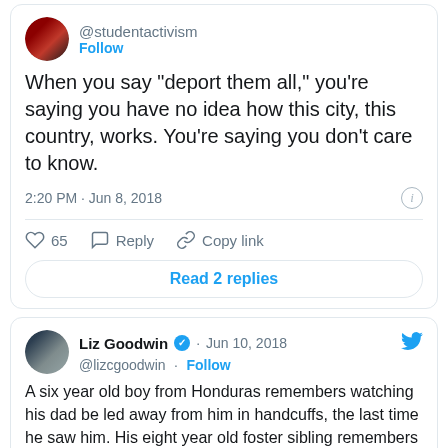[Figure (screenshot): Twitter/X tweet card 1 from @studentactivism showing tweet text and interaction buttons]
When you say "deport them all," you're saying you have no idea how this city, this country, works. You're saying you don't care to know.
2:20 PM · Jun 8, 2018
65  Reply  Copy link
Read 2 replies
[Figure (screenshot): Twitter/X tweet card 2 from Liz Goodwin (@lizcgoodwin) dated Jun 10, 2018]
A six year old boy from Honduras remembers watching his dad be led away from him in handcuffs, the last time he saw him. His eight year old foster sibling remembers his mom crying and yelling as they were separated bostonglobe.com/news/nation/20...